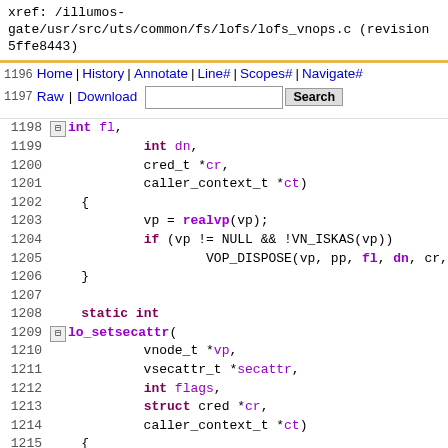xref: /illumos-gate/usr/src/uts/common/fs/lofs/lofs_vnops.c (revision 5ffe8443)
Home | History | Annotate | Line# | Scopes# | Navigate# Raw | Download Search [current directory]
1196-1220: C source code lines showing lo_setsecattr function definition and preceding VOP_DISPOSE call block